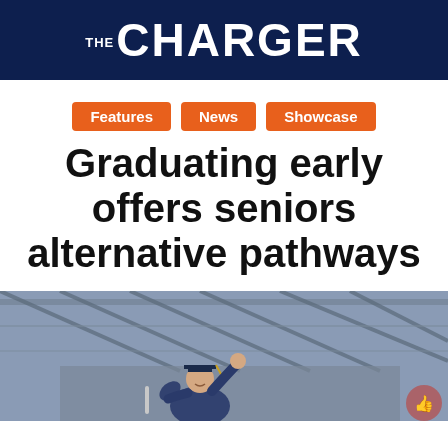THE CHARGER
Features
News
Showcase
Graduating early offers seniors alternative pathways
[Figure (photo): A graduate in cap and gown waving at a graduation ceremony inside a large venue with metal roof structure visible in the background.]